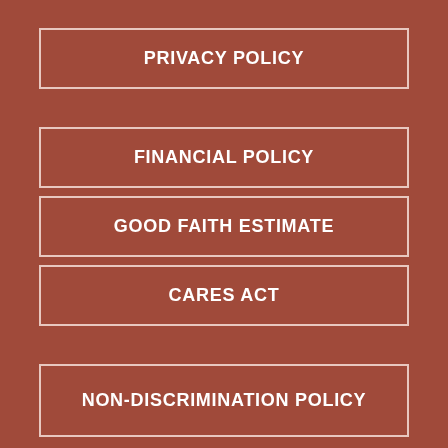PRIVACY POLICY
FINANCIAL POLICY
GOOD FAITH ESTIMATE
CARES ACT
NON-DISCRIMINATION POLICY